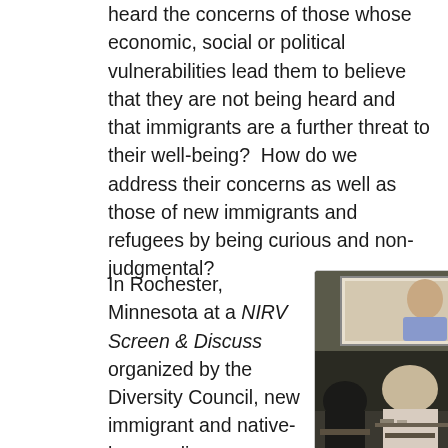heard the concerns of those whose economic, social or political vulnerabilities lead them to believe that they are not being heard and that immigrants are a further threat to their well-being?  How do we address their concerns as well as those of new immigrants and refugees by being curious and non-judgmental?
In Rochester, Minnesota at a NIRV Screen & Discuss organized by the Diversity Council, new immigrant and native-born audience members
[Figure (photo): Audience members seated from behind watching a projected screen showing a young man being interviewed. The room appears dim with a projector screen visible at the top.]